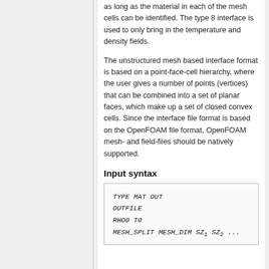as long as the material in each of the mesh cells can be identified. The type 8 interface is used to only bring in the temperature and density fields.
The unstructured mesh based interface format is based on a point-face-cell hierarchy, where the user gives a number of points (vertices) that can be combined into a set of planar faces, which make up a set of closed convex cells. Since the interface file format is based on the OpenFOAM file format, OpenFOAM mesh- and field-files should be natively supported.
Input syntax
TYPE MAT OUT
OUTFILE
RHO0 T0
MESH_SPLIT MESH_DIM SZ1 SZ2 ...